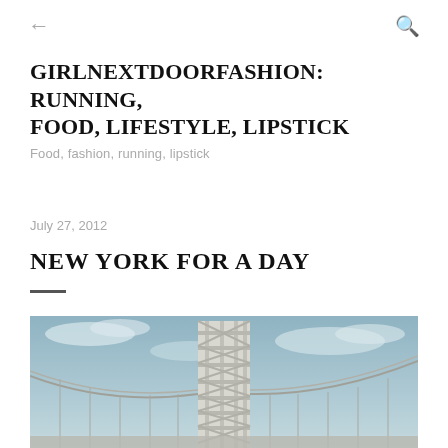← (back) and search icon
GIRLNEXTDOORFASHION: RUNNING, FOOD, LIFESTYLE, LIPSTICK
Food, fashion, running, lipstick
July 27, 2012
NEW YORK FOR A DAY
[Figure (photo): Photo of a large steel bridge tower (George Washington Bridge) against a blue-grey sky with clouds, in a desaturated/vintage teal tone]